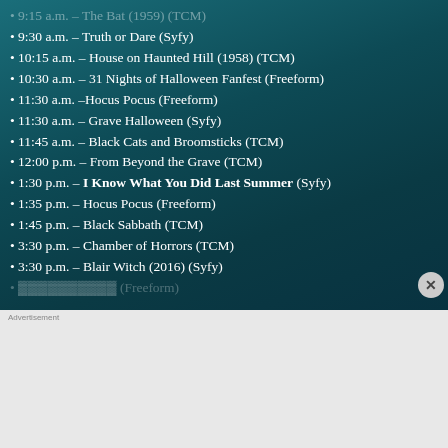9:30 a.m. – Truth or Dare (Syfy)
10:15 a.m. – House on Haunted Hill (1958) (TCM)
10:30 a.m. – 31 Nights of Halloween Fanfest (Freeform)
11:30 a.m. –Hocus Pocus (Freeform)
11:30 a.m. – Grave Halloween (Syfy)
11:45 a.m. – Black Cats and Broomsticks (TCM)
12:00 p.m. – From Beyond the Grave (TCM)
1:30 p.m. – I Know What You Did Last Summer (Syfy)
1:35 p.m. – Hocus Pocus (Freeform)
1:45 p.m. – Black Sabbath (TCM)
3:30 p.m. – Chamber of Horrors (TCM)
3:30 p.m. – Blair Witch (2016) (Syfy)
[Figure (screenshot): DuckDuckGo advertisement banner: Search, browse, and email with more privacy. All in One Free App.]